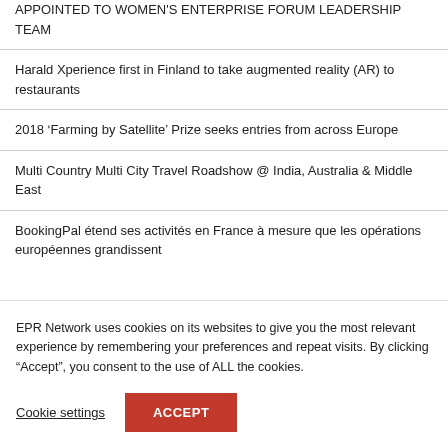APPOINTED TO WOMEN'S ENTERPRISE FORUM LEADERSHIP TEAM
Harald Xperience first in Finland to take augmented reality (AR) to restaurants
2018 ‘Farming by Satellite’ Prize seeks entries from across Europe
Multi Country Multi City Travel Roadshow @ India, Australia & Middle East
BookingPal étend ses activités en France à mesure que les opérations européennes grandissent
EPR Network uses cookies on its websites to give you the most relevant experience by remembering your preferences and repeat visits. By clicking “Accept”, you consent to the use of ALL the cookies.
Cookie settings
ACCEPT